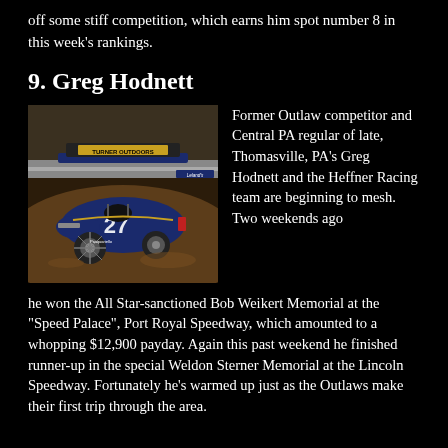off some stiff competition, which earns him spot number 8 in this week's rankings.
9. Greg Hodnett
[Figure (photo): Sprint car racing photo showing a blue sprint car with the number 27 and sponsor logos including Leland's and Turner Outdoors, racing on a dirt track.]
Former Outlaw competitor and Central PA regular of late, Thomasville, PA's Greg Hodnett and the Heffner Racing team are beginning to mesh. Two weekends ago he won the All Star-sanctioned Bob Weikert Memorial at the "Speed Palace", Port Royal Speedway, which amounted to a whopping $12,900 payday. Again this past weekend he finished runner-up in the special Weldon Sterner Memorial at the Lincoln Speedway. Fortunately he's warmed up just as the Outlaws make their first trip through the area.